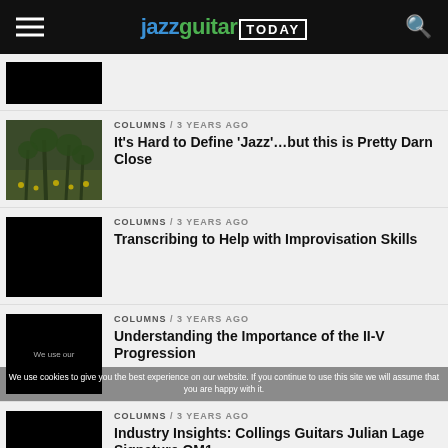jazzguitar TODAY
[Figure (screenshot): Partially visible article thumbnail (black rectangle)]
[Figure (photo): Forest scene with trees and yellow wildflowers on the ground]
COLUMNS / 3 years ago
It’s Hard to Define ‘Jazz’…but this is Pretty Darn Close
[Figure (photo): Black thumbnail image]
COLUMNS / 3 years ago
Transcribing to Help with Improvisation Skills
[Figure (photo): Black thumbnail image with cookie overlay text]
COLUMNS / 3 years ago
Understanding the Importance of the II-V Progression
We use cookies to give you the best experience on our website. If you continue to use this site we will assume that you are happy with it.
[Figure (photo): Black thumbnail image]
COLUMNS / 3 years ago
Industry Insights: Collings Guitars Julian Lage Signature OM1